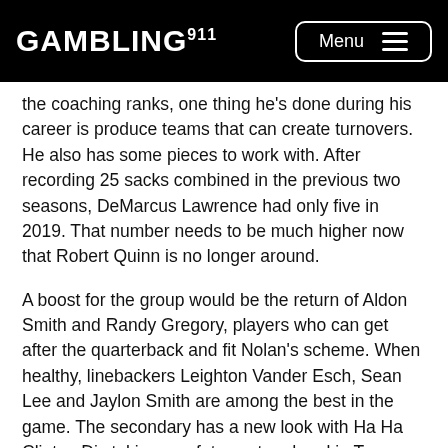GAMBLING911 Menu
the coaching ranks, one thing he's done during his career is produce teams that can create turnovers. He also has some pieces to work with. After recording 25 sacks combined in the previous two seasons, DeMarcus Lawrence had only five in 2019. That number needs to be much higher now that Robert Quinn is no longer around.
A boost for the group would be the return of Aldon Smith and Randy Gregory, players who can get after the quarterback and fit Nolan's scheme. When healthy, linebackers Leighton Vander Esch, Sean Lee and Jaylon Smith are among the best in the game. The secondary has a new look with Ha Ha Clinton Dix taking a safety spot and rookie Trevon Diggs slotted at a corner position. There is more depth, something the Boys lacked in recent years.